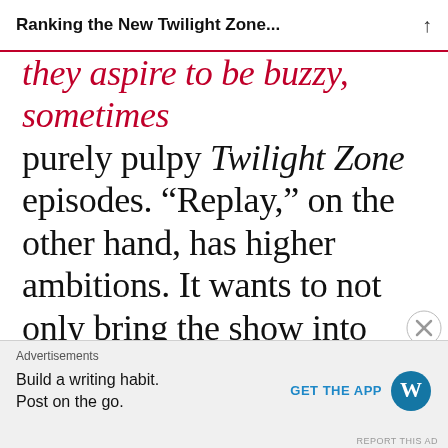Ranking the New Twilight Zone...
they aspire to be buzzy, sometimes purely pulpy Twilight Zone episodes. “Replay,” on the other hand, has higher ambitions. It wants to not only bring the show into 2019 but also do something new with it.
Advertisements
[Figure (logo): P2 logo with grid icon]
Advertisements
Build a writing habit. Post on the go.
GET THE APP